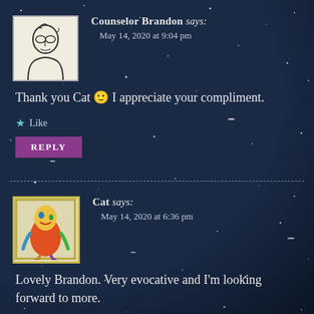Counselor Brandon says: May 14, 2020 at 9:04 pm
Thank you Cat 🙂 I appreciate your compliment.
Like
REPLY
Cat says: May 14, 2020 at 6:36 pm
Lovely Brandon. Very evocative and I'm looking forward to more.